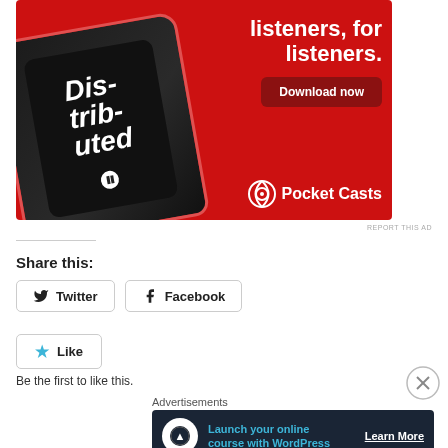[Figure (photo): Pocket Casts podcast app advertisement showing a smartphone with the app open displaying a podcast called 'Distributed', text 'listeners, for listeners.', a 'Download now' button, and the Pocket Casts logo on a red background.]
REPORT THIS AD
Share this:
Twitter   Facebook
Like
Be the first to like this.
Advertisements
[Figure (screenshot): Advertisement banner for launching an online course with WordPress on a dark navy background with a circular logo icon, teal text 'Launch your online course with WordPress', and a 'Learn More' button.]